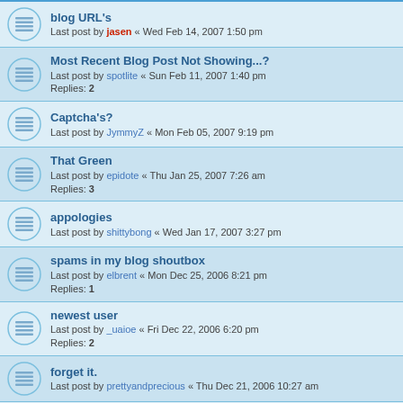blog URL's — Last post by jasen « Wed Feb 14, 2007 1:50 pm
Most Recent Blog Post Not Showing...? — Last post by spotlite « Sun Feb 11, 2007 1:40 pm — Replies: 2
Captcha's? — Last post by JymmyZ « Mon Feb 05, 2007 9:19 pm
That Green — Last post by epidote « Thu Jan 25, 2007 7:26 am — Replies: 3
appologies — Last post by shittybong « Wed Jan 17, 2007 3:27 pm
spams in my blog shoutbox — Last post by elbrent « Mon Dec 25, 2006 8:21 pm — Replies: 1
newest user — Last post by _uaioe « Fri Dec 22, 2006 6:20 pm — Replies: 2
forget it. — Last post by prettyandprecious « Thu Dec 21, 2006 10:27 am
old pics — Last post by jasen « Mon Dec 18, 2006 12:38 pm — Replies: 1
New Topic | Sort | Pagination